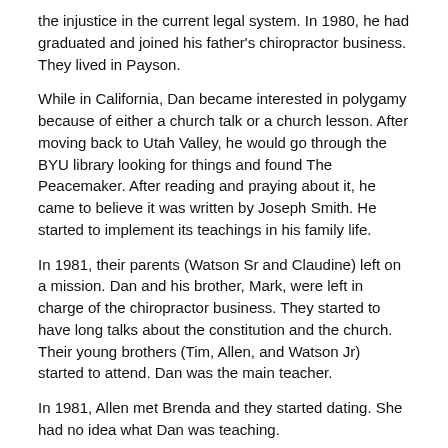the injustice in the current legal system.  In 1980, he had graduated and joined his father's chiropractor business.  They lived in Payson.
While in California, Dan became interested in polygamy because of either a church talk or a church lesson.  After moving back to Utah Valley, he would go through the BYU library looking for things and found The Peacemaker.  After reading and praying about it, he came to believe it was written by Joseph Smith.  He started to implement its teachings in his family life.
In 1981, their parents (Watson Sr and Claudine) left on a mission.  Dan and his brother, Mark, were left in charge of the chiropractor business.  They started to have long talks about the constitution and the church.  Their young brothers (Tim, Allen, and Watson Jr) started to attend.  Dan was the main teacher.
In 1981, Allen met Brenda and they started dating.  She had no idea what Dan was teaching.
By the end of 1981, Dan had returned his driver's license, revoked his marriage license, returned his Social Security card, and stopped paying taxes of any kind.  The Assessor's Office filed a